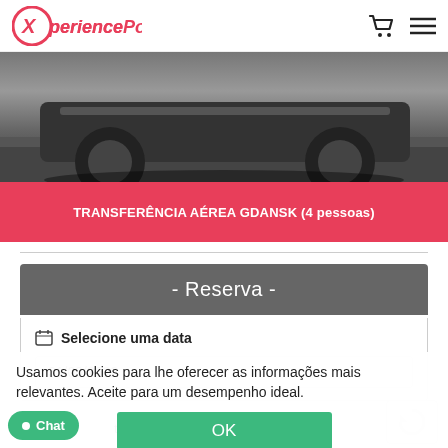XperiencePoland — header with logo, cart and menu icons
[Figure (photo): Bottom portion of a dark SUV car on road]
TRANSFERÊNCIA AÉREA GDANSK (4 pessoas)
- Reserva -
Selecione uma data
31/08/2022
Usamos cookies para lhe oferecer as informações mais relevantes. Aceite para um desempenho ideal.
OK
Politica de Privacidade
Chat
tos (seg-qu